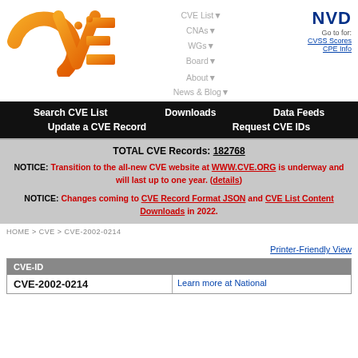[Figure (logo): CVE logo — orange gradient letters on white background]
CVE List▼ CNAs▼ WGs▼ Board▼ About▼ News & Blog▼
[Figure (logo): NVD logo — dark blue bold letters 'NVD', Go to for: CVSS Scores, CPE Info]
Search CVE List   Downloads   Data Feeds   Update a CVE Record   Request CVE IDs
TOTAL CVE Records: 182768
NOTICE: Transition to the all-new CVE website at WWW.CVE.ORG is underway and will last up to one year. (details)
NOTICE: Changes coming to CVE Record Format JSON and CVE List Content Downloads in 2022.
HOME > CVE > CVE-2002-0214
Printer-Friendly View
| CVE-ID |  |
| --- | --- |
| CVE-2002-0214 | Learn more at National |